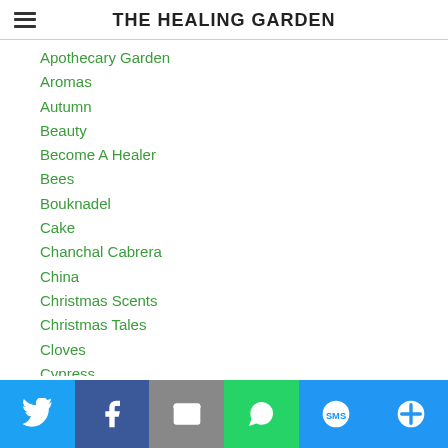THE HEALING GARDEN
Apothecary Garden
Aromas
Autumn
Beauty
Become A Healer
Bees
Bouknadel
Cake
Chanchal Cabrera
China
Christmas Scents
Christmas Tales
Cloves
Cypress
DNA
Dried Herbal Sachet
Earth